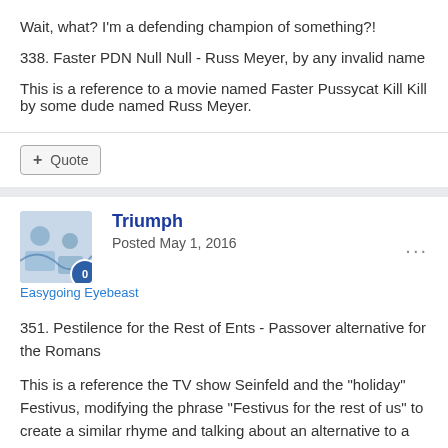Wait, what? I'm a defending champion of something?!
338. Faster PDN Null Null - Russ Meyer, by any invalid name
This is a reference to a movie named Faster Pussycat Kill Kill by some dude named Russ Meyer.
Quote
Triumph
Posted May 1, 2016
Easygoing Eyebeast
351. Pestilence for the Rest of Ents - Passover alternative for the Romans
This is a reference the TV show Seinfeld and the "holiday" Festivus, modifying the phrase "Festivus for the rest of us" to create a similar rhyme and talking about an alternative to a